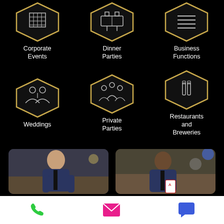[Figure (infographic): Six hexagon icons in two rows for event categories: Corporate Events, Dinner Parties, Business Functions, Weddings, Private Parties, Restaurants and Breweries]
Corporate Events
Dinner Parties
Business Functions
Weddings
Private Parties
Restaurants and Breweries
[Figure (photo): Two photos of a man in a suit performing magic at an outdoor event]
Phone | Email | Chat